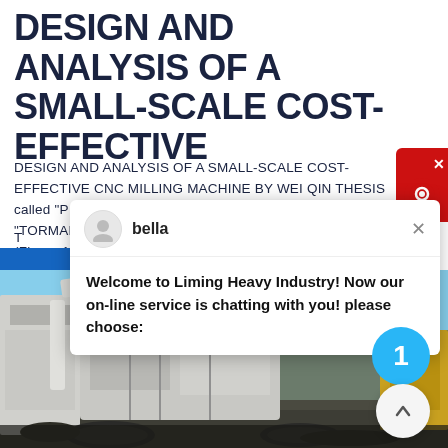DESIGN AND ANALYSIS OF A SMALL-SCALE COST-EFFECTIVE
DESIGN AND ANALYSIS OF A SMALL-SCALE COST-EFFECTIVE CNC MILLING MACHINE BY WEI QIN THESIS called “P N 770 N MILL” sold by its competitor company “TORMAH” has relatively similar machine size and structure (Figure 14)
[Figure (screenshot): Chat popup overlay from 'Liming Heavy Industry' with avatar icon labeled 'bella', close button (x), and message: 'Welcome to Liming Heavy Industry! Now our on-line service is chatting with you! please choose:']
[Figure (photo): Photograph of large industrial/construction machinery (crusher or milling equipment) on a job site with debris and equipment visible against a blue sky background.]